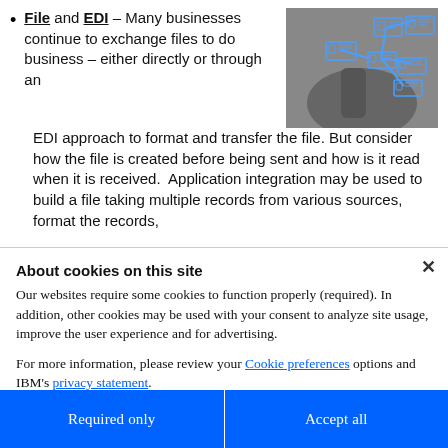File and EDI – Many businesses continue to exchange files to do business – either directly or through an EDI approach to format and transfer the file. But consider how the file is created before being sent and how is it read when it is received.  Application integration may be used to build a file taking multiple records from various sources, format the records,
[Figure (illustration): Network security diagram showing interconnected lock icons and data boxes connected by blue lines, with a hand in the background]
About cookies on this site
Our websites require some cookies to function properly (required). In addition, other cookies may be used with your consent to analyze site usage, improve the user experience and for advertising.
For more information, please review your Cookie preferences options and IBM's privacy statement.